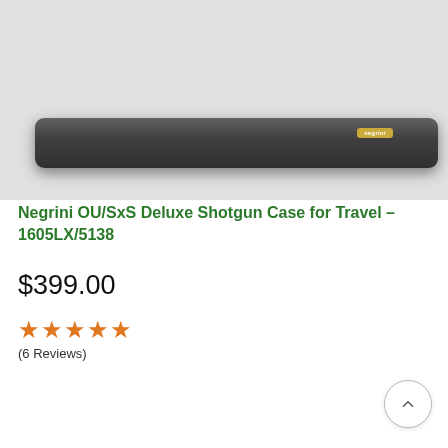Negrini Cases navigation header with hamburger menu, logo, cart icon, and user icon
[Figure (photo): Dark gray Negrini shotgun case shown from above, a long rectangular hard case with rounded edges and a small gold Negrini logo badge on the right side]
Negrini OU/SxS Deluxe Shotgun Case for Travel – 1605LX/5138
$399.00
★★★★★ (6 Reviews)